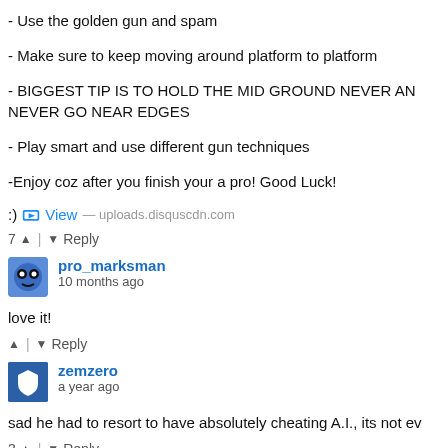- Use the golden gun and spam
- Make sure to keep moving around platform to platform
- BIGGEST TIP IS TO HOLD THE MID GROUND NEVER AND NEVER GO NEAR EDGES
- Play smart and use different gun techniques
-Enjoy coz after you finish your a pro! Good Luck!
:) View — uploads.disquscdn.com
7 ▲ | ▼ Reply
pro_marksman
10 months ago
love it!
▲ | ▼ Reply
zemzero
a year ago
sad he had to resort to have absolutely cheating A.I., its not ev
3 ▲ | ▼ Reply